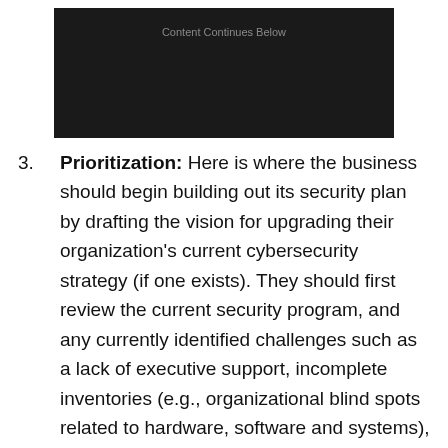[Figure (other): Dark advertisement banner with text 'Content Continues Below']
3. Prioritization: Here is where the business should begin building out its security plan by drafting the vision for upgrading their organization's current cybersecurity strategy (if one exists). They should first review the current security program, and any currently identified challenges such as a lack of executive support, incomplete inventories (e.g., organizational blind spots related to hardware, software and systems), previously identified audit gaps, and immature security processes. Once the business has